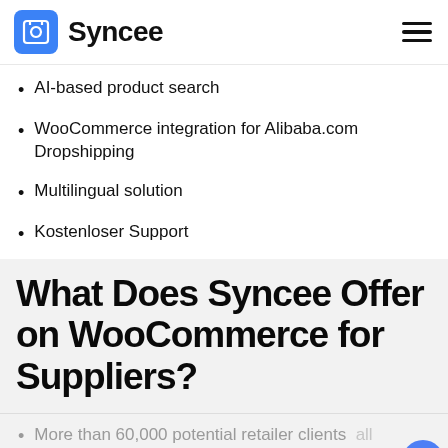Syncee
AI-based product search
WooCommerce integration for Alibaba.com Dropshipping
Multilingual solution
Kostenloser Support
What Does Syncee Offer on WooCommerce for Suppliers?
More than 60,000 potential retailer clients all over the world